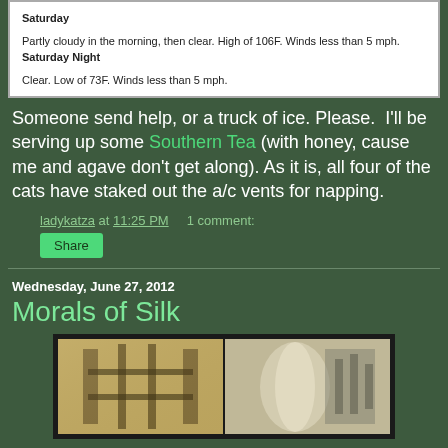| Saturday | Partly cloudy in the morning, then clear. High of 106F. Winds less than 5 mph. |
| Saturday Night | Clear. Low of 73F. Winds less than 5 mph. |
Someone send help, or a truck of ice. Please. I'll be serving up some Southern Tea (with honey, cause me and agave don't get along). As it is, all four of the cats have staked out the a/c vents for napping.
ladykatza at 11:25 PM   1 comment:
Share
Wednesday, June 27, 2012
Morals of Silk
[Figure (photo): Two side-by-side photos showing silk weaving machinery and a person working with silk fabric]